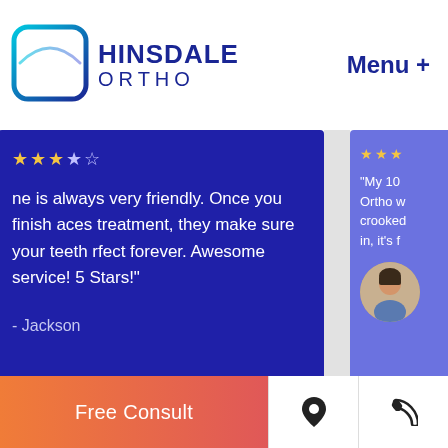[Figure (logo): Hinsdale Ortho logo with cyan/blue H icon and dark blue text reading HINSDALE ORTHO]
Menu +
ne is always very friendly. Once you finish aces treatment, they make sure your teeth rfect forever. Awesome service! 5 Stars!
- Jackson
"My 10 Ortho w crooked in, it's f
[Figure (photo): Circular avatar photo of a person, partially visible on the right review card]
Free Consult